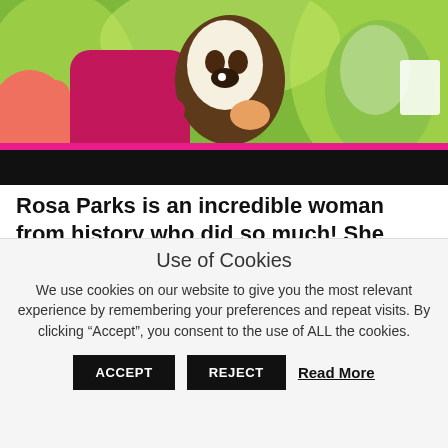[Figure (illustration): Colorful cartoon illustration of anthropomorphic animal characters including a dog wearing a pink/magenta outfit hugging another character, set against a bright green background. The lower portion of the image has a black bar.]
Rosa Parks is an incredible woman from history who did so much! She fought for rights in the Black community, women's rights, AND voting
Use of Cookies
We use cookies on our website to give you the most relevant experience by remembering your preferences and repeat visits. By clicking “Accept”, you consent to the use of ALL the cookies.
ACCEPT   REJECT   Read More